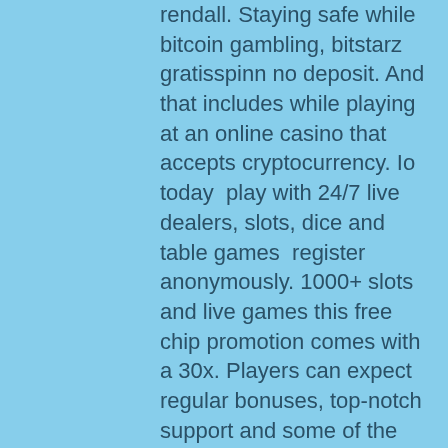rendall. Staying safe while bitcoin gambling, bitstarz gratisspinn no deposit. And that includes while playing at an online casino that accepts cryptocurrency. Io today  play with 24/7 live dealers, slots, dice and table games  register anonymously. 1000+ slots and live games this free chip promotion comes with a 30x. Players can expect regular bonuses, top-notch support and some of the most sophisticated security available online. Get 30 free spins no deposit! nw casino. Live bitcoin casinos are basically online gambling sites that offering live casino games hosted by a live dealer. These became extremely popular. Play bitcoin casino online games - gamble more than 2000 casino games on cryptovegas. Sign up today and get your welcome bonus to play with btc, eth, ltc. So go on, play now at casino online slot for free, for fun. High 5 casino real slots free. Looking for the best bitcoin casino bonuses? ► take your pick of.